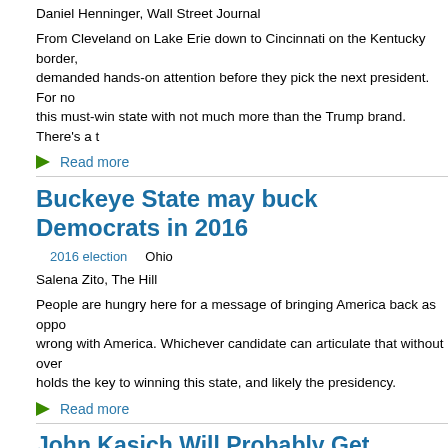Daniel Henninger, Wall Street Journal
From Cleveland on Lake Erie down to Cincinnati on the Kentucky border, demanded hands-on attention before they pick the next president. For no this must-win state with not much more than the Trump brand. There's a t
Read more
Buckeye State may buck Democrats in 2016
2016 election   Ohio
Salena Zito, The Hill
People are hungry here for a message of bringing America back as oppo wrong with America. Whichever candidate can articulate that without over holds the key to winning this state, and likely the presidency.
Read more
John Kasich Will Probably Get Mathematically Even if he Wins Ohio
John Kasich   Ohio
Leon H. Wolf, RedState